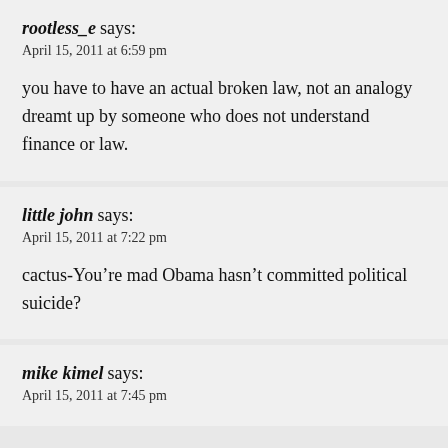rootless_e says:
April 15, 2011 at 6:59 pm
you have to have an actual broken law, not an analogy dreamt up by someone who does not understand finance or law.
little john says:
April 15, 2011 at 7:22 pm
cactus-You’re mad Obama hasn’t committed political suicide?
mike kimel says:
April 15, 2011 at 7:45 pm